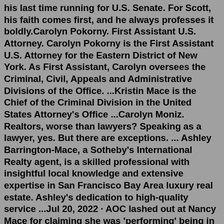his last time running for U.S. Senate. For Scott, his faith comes first, and he always professes it boldly.Carolyn Pokorny. First Assistant U.S. Attorney. Carolyn Pokorny is the First Assistant U.S. Attorney for the Eastern District of New York. As First Assistant, Carolyn oversees the Criminal, Civil, Appeals and Administrative Divisions of the Office. ...Kristin Mace is the Chief of the Criminal Division in the United States Attorney's Office ...Carolyn Moniz. Realtors, worse than lawyers? Speaking as a lawyer, yes. But there are exceptions. ... Ashley Barrington-Mace, a Sotheby's International Realty agent, is a skilled professional with insightful local knowledge and extensive expertise in San Francisco Bay Area luxury real estate. Ashley's dedication to high-quality service ...Jul 20, 2022 · AOC lashed out at Nancy Mace for claiming she was 'performing' being in handcuffs on Tuesday - and the squad member questioning why she would make the comments about a 'fellow rape survivor. Aug 21, 2020 · Find the obituary of Carolyn MacE (1941 - 2020) from